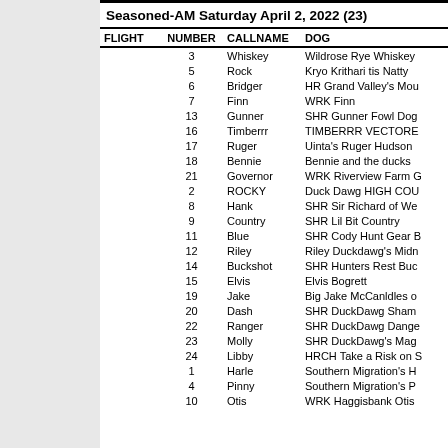Seasoned-AM Saturday April 2, 2022 (23)
| FLIGHT | NUMBER | CALLNAME | DOG |
| --- | --- | --- | --- |
|  | 3 | Whiskey | Wildrose Rye Whiskey |
|  | 5 | Rock | Kryo Krithari tis Natty |
|  | 6 | Bridger | HR Grand Valley's Mou |
|  | 7 | Finn | WRK Finn |
|  | 13 | Gunner | SHR Gunner Fowl Dog |
|  | 16 | Timberrr | TIMBERRR VECTORE |
|  | 17 | Ruger | Uinta's Ruger Hudson |
|  | 18 | Bennie | Bennie and the ducks |
|  | 21 | Governor | WRK Riverview Farm G |
|  | 2 | ROCKY | Duck Dawg HIGH COU |
|  | 8 | Hank | SHR Sir Richard of We |
|  | 9 | Country | SHR Lil Bit Country |
|  | 11 | Blue | SHR Cody Hunt Gear B |
|  | 12 | Riley | Riley Duckdawg's Midn |
|  | 14 | Buckshot | SHR Hunters Rest Buc |
|  | 15 | Elvis | Elvis Bogrett |
|  | 19 | Jake | Big Jake McCanldles o |
|  | 20 | Dash | SHR DuckDawg Sham |
|  | 22 | Ranger | SHR DuckDawg Dange |
|  | 23 | Molly | SHR DuckDawg's Mag |
|  | 24 | Libby | HRCH Take a Risk on S |
|  | 1 | Harle | Southern Migration's H |
|  | 4 | Pinny | Southern Migration's P |
|  | 10 | Otis | WRK Haggisbank Otis |